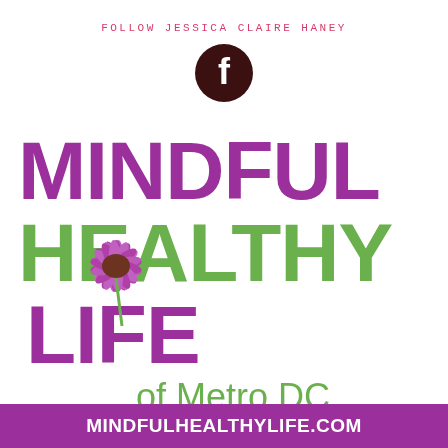FOLLOW JESSICA CLAIRE HANEY
[Figure (logo): Facebook logo icon, dark brown/maroon circle with white 'f' letter]
[Figure (logo): Mindful Healthy Life of Metro DC logo with echinacea flower illustration. MINDFUL in purple, HEALTHY in green, LIFE in purple with flower, of Metro DC in green.]
MINDFULHEALTHYLIFE.COM